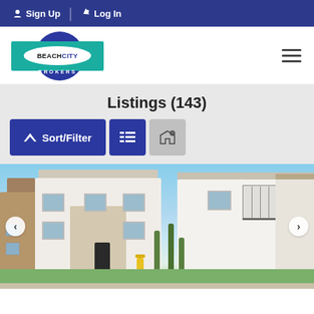Sign Up | Log In
[Figure (logo): Beach City Brokers logo — dark blue circle with teal rectangle and white oval containing 'BEACH CITY BROKERS' text]
Listings (143)
Sort/Filter button and view toggle buttons (list view and map view)
[Figure (photo): Exterior photo of modern two-story residential homes with white stucco and brick facade, blue sky background, with navigation arrows on left and right sides]